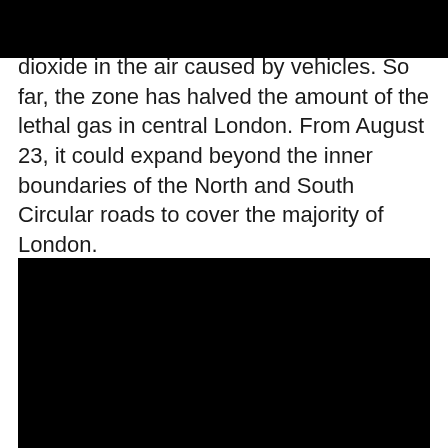dioxide in the air caused by vehicles. So far, the zone has halved the amount of the lethal gas in central London. From August 23, it could expand beyond the inner boundaries of the North and South Circular roads to cover the majority of London.
[Figure (photo): A large black rectangular image, likely a photo that is not loading or is blacked out.]